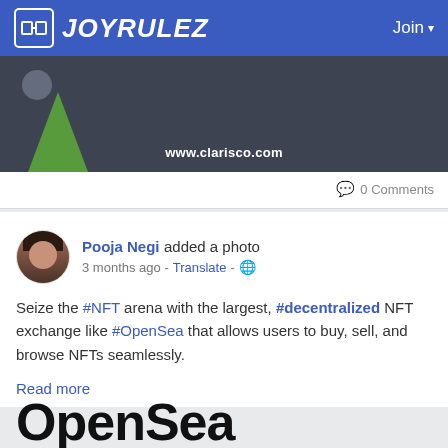JOYRULEZ | Join
[Figure (screenshot): Partial website screenshot showing dark background with green leaf shape and www.clarisco.com watermark]
0 Comments
Pooja Negi added a photo
3 months ago - Translate -
Seize the #NFT arena with the largest, #decentralized NFT exchange like #OpenSea that allows users to buy, sell, and browse NFTs seamlessly.
Read more
OpenSea